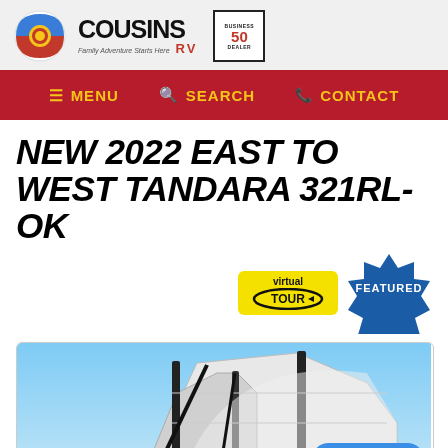Cousins RV — Family Adventure Starts Here | Top 50 Dealer
MENU  SEARCH  CONTACT
NEW 2022 EAST TO WEST TANDARA 321RL-OK
[Figure (logo): Virtual Tour badge and Featured badge]
[Figure (photo): Photo of a 2022 East to West Tandara 321RL-OK RV exterior, showing the roof and hitch area against a blue sky background. A 'Text us!' button is overlaid in the bottom right corner.]